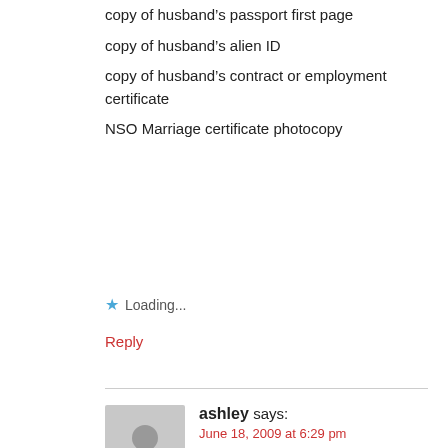copy of husband’s passport first page
copy of husband’s alien ID
copy of husband’s contract or employment certificate
NSO Marriage certificate photocopy
★ Loading...
Reply
ashley says: June 18, 2009 at 6:29 pm
hi miss sherlyn i have all these, can i already apply for a visa at korean embassy?naka alis k n b ppnta sa south korea?